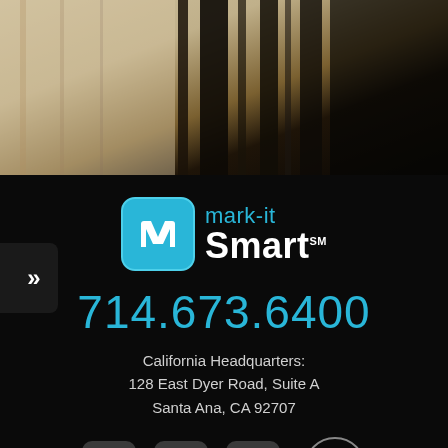[Figure (photo): Blurred photo of pencils or similar objects, warm tones, serving as decorative header background]
[Figure (logo): mark-it Smart logo: cyan rounded square with white 'm', beside text 'mark-it' in cyan and 'Smart' in white with SM mark]
714.673.6400
California Headquarters:
128 East Dyer Road, Suite A
Santa Ana, CA 92707
[Figure (infographic): Social media icons row: Facebook, LinkedIn, Instagram icons in gray rounded squares, and a scroll-to-top circle button with chevrons]